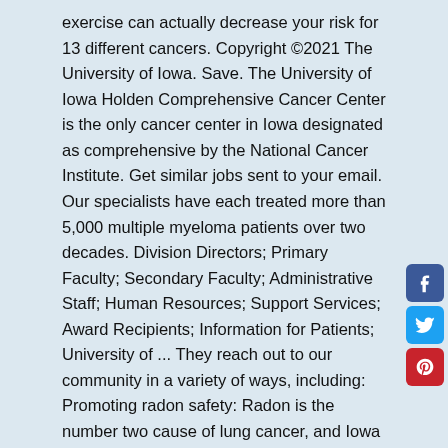exercise can actually decrease your risk for 13 different cancers. Copyright ©2021 The University of Iowa. Save. The University of Iowa Holden Comprehensive Cancer Center is the only cancer center in Iowa designated as comprehensive by the National Cancer Institute. Get similar jobs sent to your email. Our specialists have each treated more than 5,000 multiple myeloma patients over two decades. Division Directors; Primary Faculty; Secondary Faculty; Administrative Staff; Human Resources; Support Services; Award Recipients; Information for Patients; University of ... They reach out to our community in a variety of ways, including: Promoting radon safety: Radon is the number two cause of lung cancer, and Iowa has the [...] Location: Iowa City, Iowa All Rights Reserved. Holden Comprehensive Cancer Center; UI Stead Family Children's Hospital; Roy J. and Lucille A. The University of Iowa Hospitals and Clinics is seeking a 100% Staff Nurse to work at the Holden Comprehensive Cancer Center. Holden is the first...